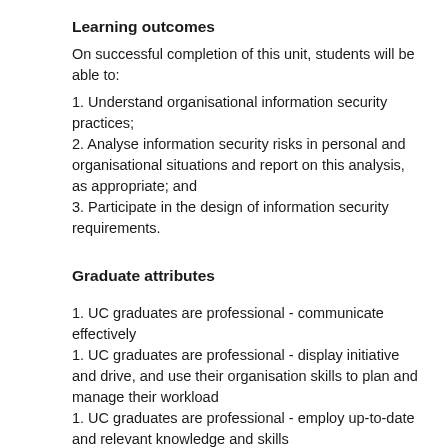Learning outcomes
On successful completion of this unit, students will be able to:
1. Understand organisational information security practices;
2. Analyse information security risks in personal and organisational situations and report on this analysis, as appropriate; and
3. Participate in the design of information security requirements.
Graduate attributes
1. UC graduates are professional - communicate effectively
1. UC graduates are professional - display initiative and drive, and use their organisation skills to plan and manage their workload
1. UC graduates are professional - employ up-to-date and relevant knowledge and skills
1. UC graduates are professional - take pride in their profession and community integrity